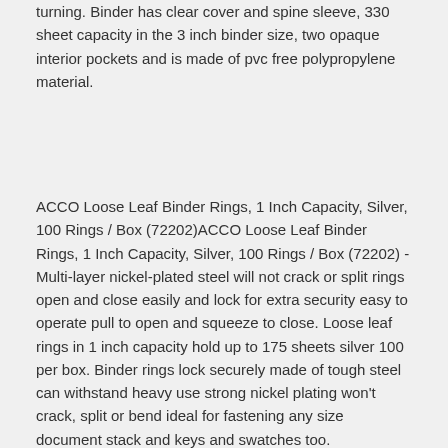turning. Binder has clear cover and spine sleeve, 330 sheet capacity in the 3 inch binder size, two opaque interior pockets and is made of pvc free polypropylene material.
ACCO Loose Leaf Binder Rings, 1 Inch Capacity, Silver, 100 Rings / Box (72202)ACCO Loose Leaf Binder Rings, 1 Inch Capacity, Silver, 100 Rings / Box (72202) - Multi-layer nickel-plated steel will not crack or split rings open and close easily and lock for extra security easy to operate pull to open and squeeze to close. Loose leaf rings in 1 inch capacity hold up to 175 sheets silver 100 per box. Binder rings lock securely made of tough steel can withstand heavy use strong nickel plating won't crack, split or bend ideal for fastening any size document stack and keys and swatches too.